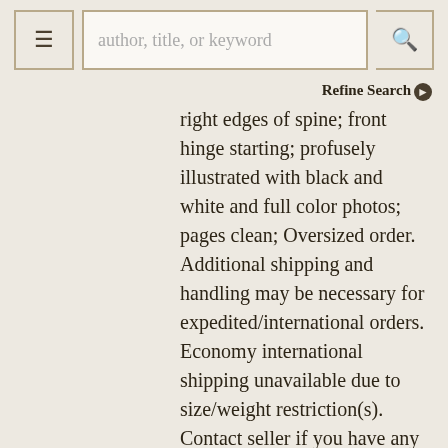author, title, or keyword | menu | search
Refine Search
right edges of spine; front hinge starting; profusely illustrated with black and white and full color photos; pages clean; Oversized order. Additional shipping and handling may be necessary for expedited/international orders. Economy international shipping unavailable due to size/weight restriction(s). Contact seller if you have any questions. NOTE: Shelved in Netdesk office, in wraparound bookcase next to 15's. More >
ADD TO CART
Price: $110